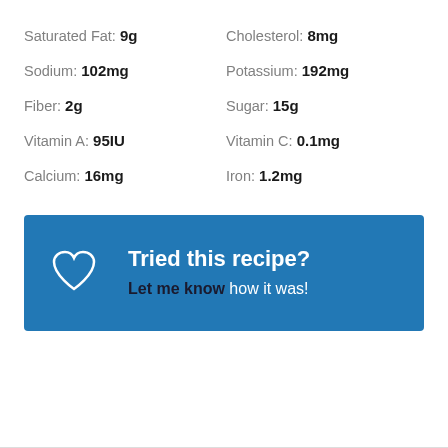Saturated Fat: 9g
Cholesterol: 8mg
Sodium: 102mg
Potassium: 192mg
Fiber: 2g
Sugar: 15g
Vitamin A: 95IU
Vitamin C: 0.1mg
Calcium: 16mg
Iron: 1.2mg
[Figure (infographic): Blue call-to-action box with a heart outline icon and text: 'Tried this recipe? Let me know how it was!']